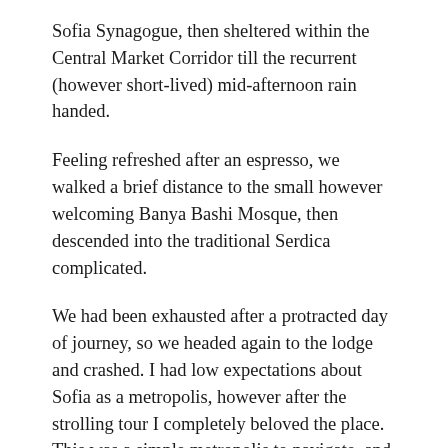Sofia Synagogue, then sheltered within the Central Market Corridor till the recurrent (however short-lived) mid-afternoon rain handed.
Feeling refreshed after an espresso, we walked a brief distance to the small however welcoming Banya Bashi Mosque, then descended into the traditional Serdica complicated.
We had been exhausted after a protracted day of journey, so we headed again to the lodge and crashed. I had low expectations about Sofia as a metropolis, however after the strolling tour I completely beloved the place. This was a simple metropolis to navigate, and it was an attractive metropolis regardless of its ugly, staunch and stolid communist-built surrounds. Sofia has a really common facade as you enter the town, however when you lose your self within the outdated city space, all the things